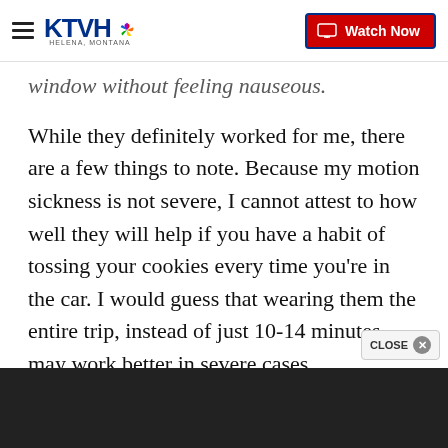KTVH — Watch Now
window without feeling nauseous.
While they definitely worked for me, there are a few things to note. Because my motion sickness is not severe, I cannot attest to how well they will help if you have a habit of tossing your cookies every time you're in the car. I would guess that wearing them the entire trip, instead of just 10-14 minutes, may work better in severe cases.
I also did not use them on a plane, train or boat, so